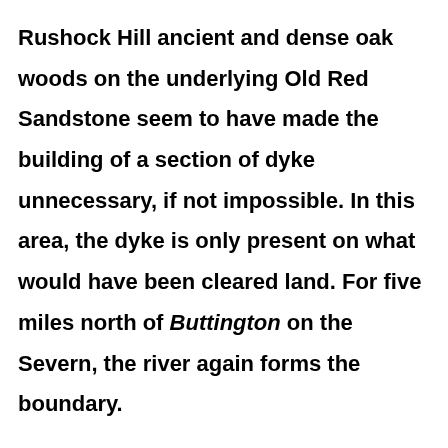Rushock Hill ancient and dense oak woods on the underlying Old Red Sandstone seem to have made the building of a section of dyke unnecessary, if not impossible. In this area, the dyke is only present on what would have been cleared land. For five miles north of Buttington on the Severn, the river again forms the boundary.